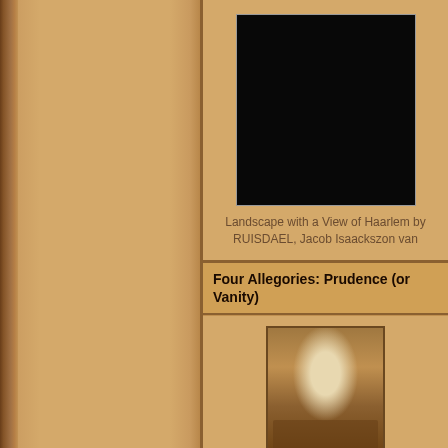[Figure (photo): Landscape with a View of Haarlem painting — appears mostly dark/black in reproduction]
Landscape with a View of Haarlem by RUISDAEL, Jacob Isaackszon van
Four Allegories: Prudence (or Vanity)
[Figure (photo): Four Allegories: Prudence (or Vanity) painting showing a classical female figure on a pedestal with figures around the base, arched architectural setting]
Four Allegories: Prudence (or Vanity) by BELLINI, Giovanni